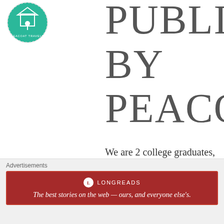[Figure (logo): Peacoat Travels circular logo with teal background and white building/tree icon]
PUBLISHED BY PEACOATTRA
We are 2 college graduates, Kara and Bailey that enjoy discovering the history and roots of everywhere we travel.
View all posts by peacoattravels
Share Peacoat Travels:
[Figure (infographic): Social share buttons: Twitter, Facebook, Tumblr, Pinterest (5)]
[Figure (infographic): Longreads advertisement banner: The best stories on the web — ours, and everyone else's.]